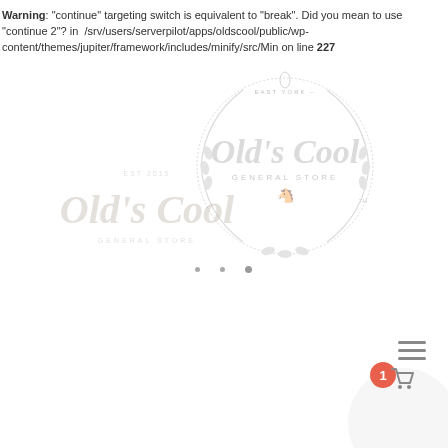Warning: "continue" targeting switch is equivalent to "break". Did you mean to use "continue 2"? in /srv/users/serverpilot/apps/oldscool/public/wp-content/themes/jupiter/framework/includes/minify/src/Min on line 227
[Figure (logo): Old's Cool General Store wreath logo with floral border and horse silhouette, East York branding, circular badge style]
[Figure (logo): Old's Cool General Store smaller logo with cursive script, EST 2015, gray color]